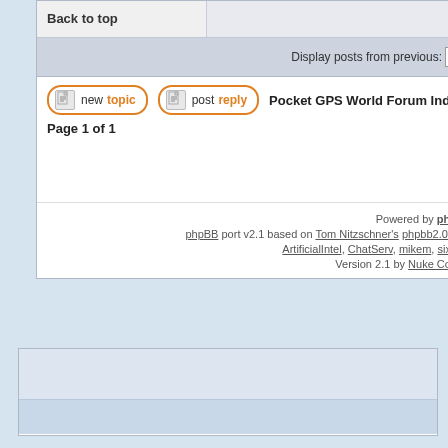Back to top
Display posts from previous:
new topic   post reply   Pocket GPS World Forum Index -> Non-Te
Page 1 of 1
Powered by phpBB port v2.1 based on Tom Nitzschner's phpbb2.0.6 ArtificialIntel, ChatServ, mikem, sixo Version 2.1 by Nuke Cop